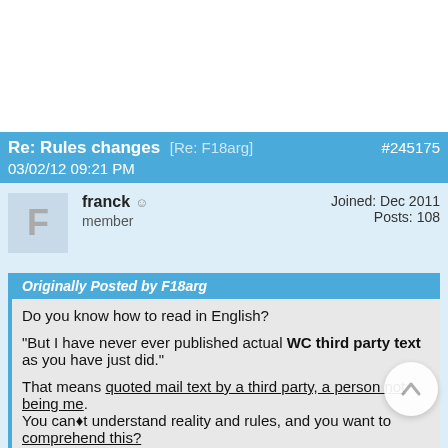Re: Rules changes [Re: F18arg]   #245175
03/02/12 09:21 PM
franck ☺
member
Joined: Dec 2011
Posts: 108
Originally Posted by F18arg
Do you know how to read in English?
"But I have never ever published actual WC third party text as you have just did."
That means quoted mail text by a third party, a person not being me.
You can't understand reality and rules, and you want to comprehend this?